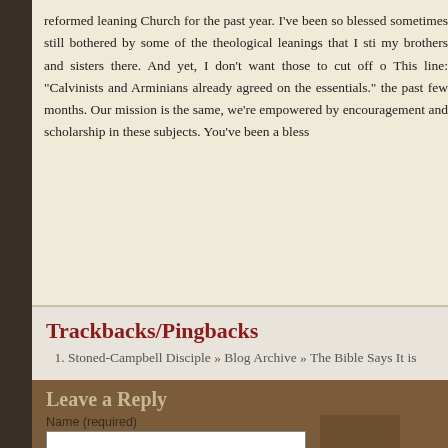reformed leaning Church for the past year. I've been so blessed sometimes still bothered by some of the theological leanings that I sti my brothers and sisters there. And yet, I don't want those to cut off o This line: “Calvinists and Arminians already agreed on the essentials.” the past few months. Our mission is the same, we're empowered by encouragement and scholarship in these subjects. You've been a bless
Trackbacks/Pingbacks
1. Stoned-Campbell Disciple » Blog Archive » The Bible Says It is
Leave a Reply
Name (required)
Mail (required)
Website